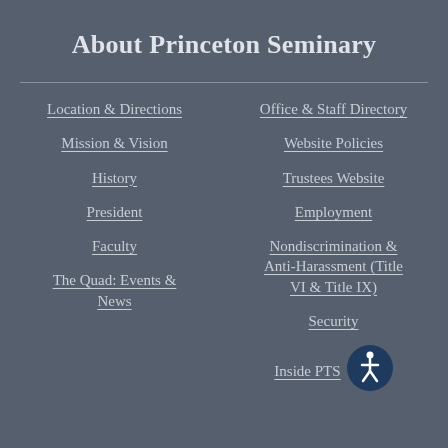About Princeton Seminary
Location & Directions
Office & Staff Directory
Mission & Vision
Website Policies
History
Trustees Website
President
Employment
Faculty
Nondiscrimination & Anti-Harassment (Title VI & Title IX)
The Quad: Events & News
Security
Inside PTS
[Figure (illustration): Accessibility icon: circular dark navy badge with a white wheelchair user symbol]